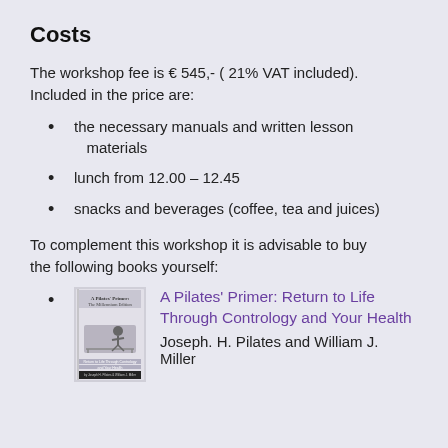Costs
The workshop fee is € 545,- ( 21% VAT included). Included in the price are:
the necessary manuals and written lesson materials
lunch from 12.00 – 12.45
snacks and beverages (coffee, tea and juices)
To complement this workshop it is advisable to buy the following books yourself:
A Pilates' Primer: Return to Life Through Contrology and Your Health — Joseph. H. Pilates and William J. Miller
[Figure (photo): Book cover of A Pilates' Primer: The Millennium Edition, showing a person exercising on a Pilates apparatus]